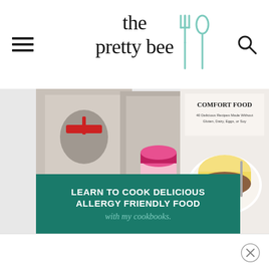the pretty bee
[Figure (illustration): Cookbook advertisement for 'the pretty bee' showing cookbook covers with comfort food dishes and text 'LEARN TO COOK DELICIOUS ALLERGY FRIENDLY FOOD with my cookbooks.']